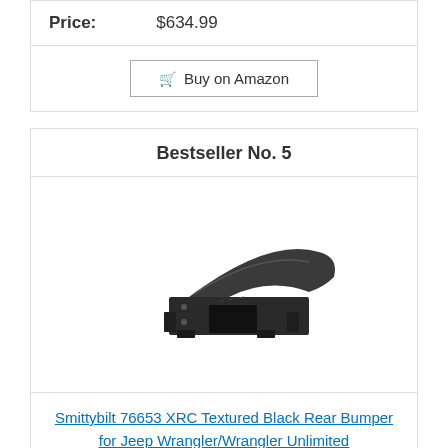| Price: | $634.99 |
Buy on Amazon
Bestseller No. 5
[Figure (photo): Smittybilt 76653 XRC Textured Black Rear Bumper for Jeep Wrangler/Wrangler Unlimited product photo showing a dark textured metal rear bumper at an angle]
Smittybilt 76653 XRC Textured Black Rear Bumper for Jeep Wrangler/Wrangler Unlimited